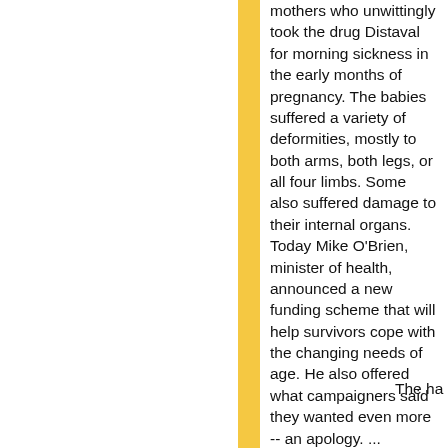mothers who unwittingly took the drug Distaval for morning sickness in the early months of pregnancy. The babies suffered a variety of deformities, mostly to both arms, both legs, or all four limbs. Some also suffered damage to their internal organs. Today Mike O'Brien, minister of health, announced a new funding scheme that will help survivors cope with the changing needs of age. He also offered what campaigners said they wanted even more -- an apology. ...
Thu, Jan 14, 2010
from BBC (UK):
Arctic polar
The ha